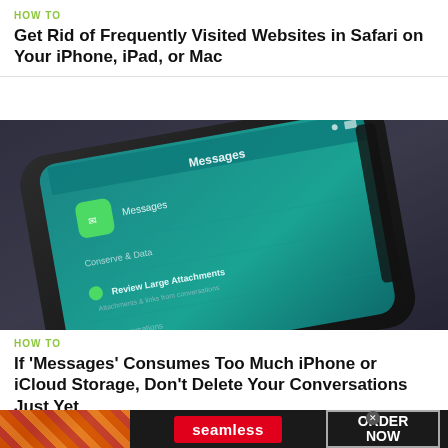HOW TO
Get Rid of Frequently Visited Websites in Safari on Your iPhone, iPad, or Mac
[Figure (photo): Close-up photo of an iPhone displaying the Messages settings screen with options like 'Conserve & Data' and 'Review Large Attachments', shot against a dark background]
HOW TO
If 'Messages' Consumes Too Much iPhone or iCloud Storage, Don't Delete Your Conversations Just Yet
[Figure (infographic): Seamless food delivery advertisement banner with pizza image on left, red Seamless logo button in center, and 'ORDER NOW' button on right against dark background]